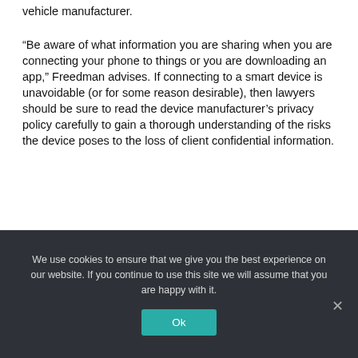vehicle manufacturer.
“Be aware of what information you are sharing when you are connecting your phone to things or you are downloading an app,” Freedman advises. If connecting to a smart device is unavoidable (or for some reason desirable), then lawyers should be sure to read the device manufacturer’s privacy policy carefully to gain a thorough understanding of the risks the device poses to the loss of client confidential information.
We use cookies to ensure that we give you the best experience on our website. If you continue to use this site we will assume that you are happy with it.